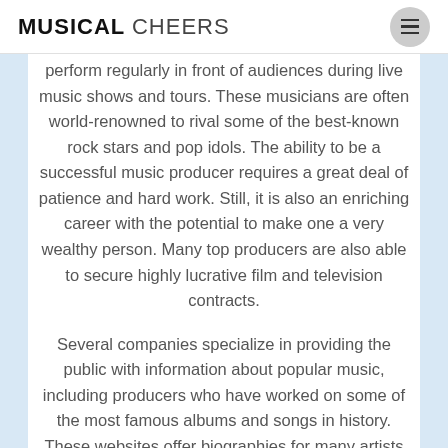MUSICAL CHEERS
perform regularly in front of audiences during live music shows and tours. These musicians are often world-renowned to rival some of the best-known rock stars and pop idols. The ability to be a successful music producer requires a great deal of patience and hard work. Still, it is also an enriching career with the potential to make one a very wealthy person. Many top producers are also able to secure highly lucrative film and television contracts.
Several companies specialize in providing the public with information about popular music, including producers who have worked on some of the most famous albums and songs in history. These websites offer biographies for many artists and include interviews with them and link to purchase their albums online. These sites can help you learn more about your favorite artists, discover new performers, and even find out which high-profile